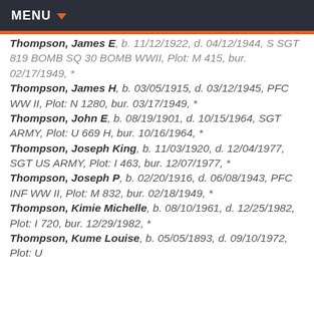MENU
Thompson, James E, b. 11/12/1922, d. 04/12/1944, S SGT 819 BOMB SQ 30 BOMB WWII, Plot: M 415, bur. 02/17/1949, *
Thompson, James H, b. 03/05/1915, d. 03/12/1945, PFC WW II, Plot: N 1280, bur. 03/17/1949, *
Thompson, John E, b. 08/19/1901, d. 10/15/1964, SGT ARMY, Plot: U 669 H, bur. 10/16/1964, *
Thompson, Joseph King, b. 11/03/1920, d. 12/04/1977, SGT US ARMY, Plot: I 463, bur. 12/07/1977, *
Thompson, Joseph P, b. 02/20/1916, d. 06/08/1943, PFC INF WW II, Plot: M 832, bur. 02/18/1949, *
Thompson, Kimie Michelle, b. 08/10/1961, d. 12/25/1982, Plot: I 720, bur. 12/29/1982, *
Thompson, Kume Louise, b. 05/05/1893, d. 09/10/1972, Plot: U